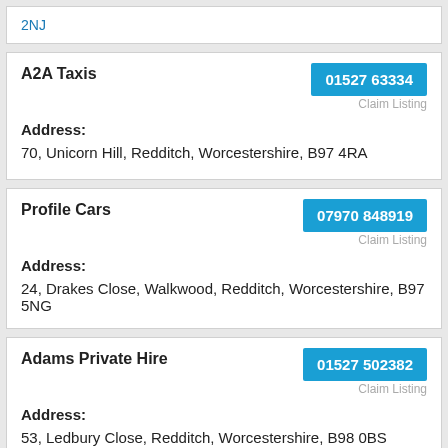2NJ
A2A Taxis
01527 63334
Claim Listing
Address:
70, Unicorn Hill, Redditch, Worcestershire, B97 4RA
Profile Cars
07970 848919
Claim Listing
Address:
24, Drakes Close, Walkwood, Redditch, Worcestershire, B97 5NG
Adams Private Hire
01527 502382
Claim Listing
Address:
53, Ledbury Close, Redditch, Worcestershire, B98 0BS